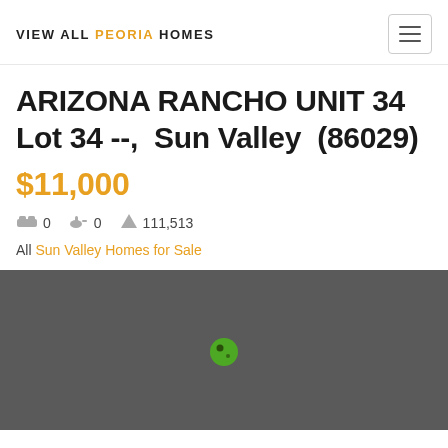VIEW ALL PEORIA HOMES
ARIZONA RANCHO UNIT 34 Lot 34 --, Sun Valley (86029)
$11,000
0 bedrooms  0 bathrooms  111,513 sq ft
All Sun Valley Homes for Sale
[Figure (map): Dark gray map with a single green marker pin indicating the property location in Sun Valley, AZ]